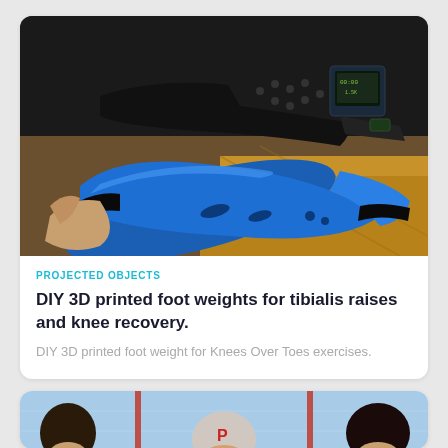[Figure (photo): Close-up photo of a blue 3D printed foot weight/brace device attached to a shoe or foot, with black straps and mechanical components visible. Wooden floor visible in background.]
PROJECTED OBJECTS
DIY 3D printed foot weights for tibialis raises and knee recovery.
DIY 3D printed foot weight for Knees Over Toes exercises.
[Figure (photo): Partial view of a second card showing heads of people against a blue background with the letter P visible.]